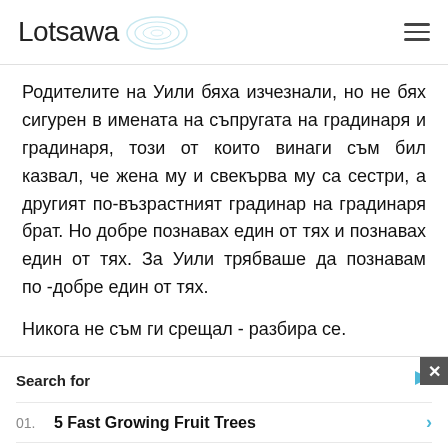Lotsawa [logo]
Родителите на Уили бяха изчезнали, но не бях сигурен в имената на съпругата на градинаря и градинаря, този от които винаги съм бил казвал, че жена му и свекърва му са сестри, а другият по-възрастният градинар на градинаря брат. Но добре познавах един от тях и познавах един от тях. За Уили трябваше да познавам по -добре един от тях.
Никога не съм ги срещал - разбира се.
Search for
01. 5 Fast Growing Fruit Trees
02. Fruit Trees That Are Easy To Grow
Yahoo! Search | Sponsored